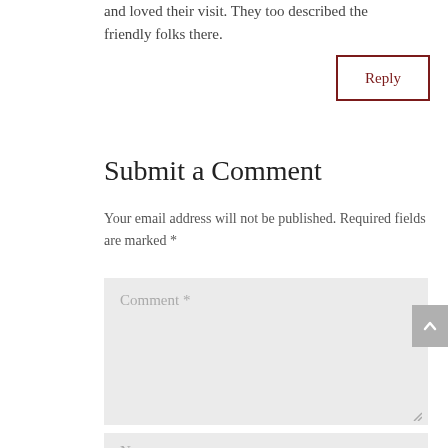and loved their visit. They too described the friendly folks there.
Reply
Submit a Comment
Your email address will not be published. Required fields are marked *
Comment *
Name